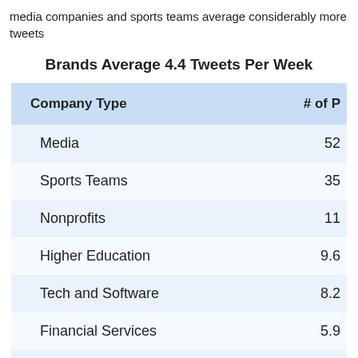media companies and sports teams average considerably more tweets
Brands Average 4.4 Tweets Per Week
| Company Type | # of P |
| --- | --- |
| Media | 52 |
| Sports Teams | 35 |
| Nonprofits | 11 |
| Higher Education | 9.6 |
| Tech and Software | 8.2 |
| Financial Services | 5.9 |
| Influencers | 3.1 |